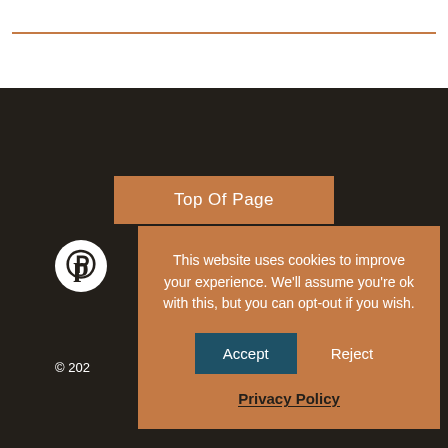Top Of Page
[Figure (logo): Pinterest icon - white P logo on dark circle background]
This website uses cookies to improve your experience. We'll assume you're ok with this, but you can opt-out if you wish.
Accept
Reject
Privacy Policy
© 202…